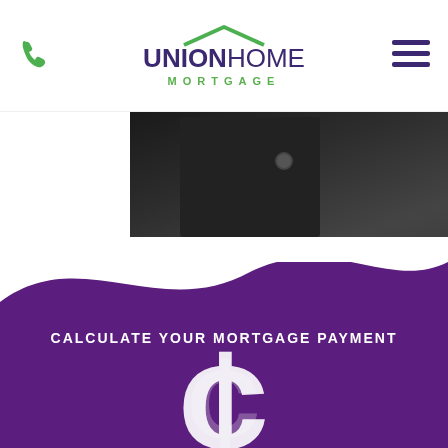Union Home Mortgage
[Figure (photo): Partial photo of a person in a dark suit, cropped to show torso/collar area with a button visible]
[Figure (illustration): Purple wave/swoosh background transitioning from white to deep purple, with a large white dollar/cent sign icon at the bottom]
CALCULATE YOUR MORTGAGE PAYMENT